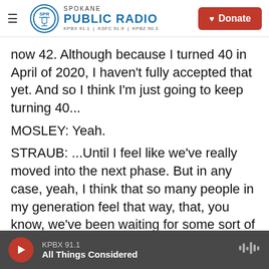Spokane Public Radio — KPBX 91.1 | KSFC 91.9 | KPBZ 90.3 | Donate
now 42. Although because I turned 40 in April of 2020, I haven't fully accepted that yet. And so I think I'm just going to keep turning 40...
MOSLEY: Yeah.
STRAUB: ...Until I feel like we've really moved into the next phase. But in any case, yeah, I think that so many people in my generation feel that way, that, you know, we've been waiting for some sort of flag to come down that says, oh, yes. Now you are entering this phase of your life - because I think when you're a child, you look at your parents who
KPBX 91.1 — All Things Considered